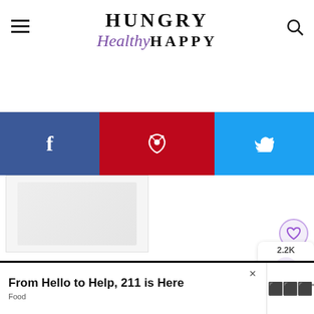Hungry Healthy Happy
[Figure (screenshot): Website screenshot of Hungry Healthy Happy food blog showing header with logo, social share bar (Facebook, Pinterest, Twitter), a faded recipe image placeholder, two article titles: 'Tuna Pasta Bake' and '35 Healthy Slow Cooker Recipes', share count 2.2K, What's Next panel showing Cranberry Bread, and an advertisement banner 'From Hello to Help, 211 is Here' with Food category tag]
Tuna Pasta Bake
35 Healthy Slow Cooker Recipes
2.2K
WHAT'S NEXT → Cranberry Bread
From Hello to Help, 211 is Here
Food